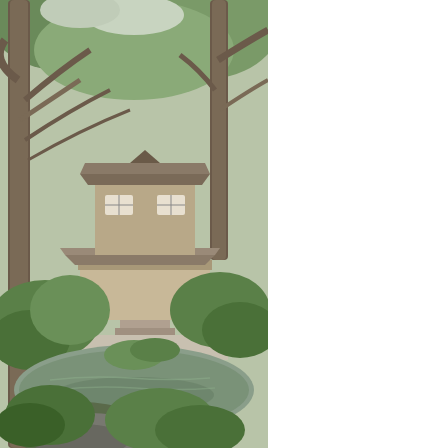[Figure (photo): Japanese garden scene with a traditional pagoda/temple building visible through pine trees, with a reflecting pond, moss-covered rocks, and manicured shrubs and greenery.]
Filed Under: Sho
Summe
November 27, 20
In July and Aug 50 training ses Nigata were on for their genero